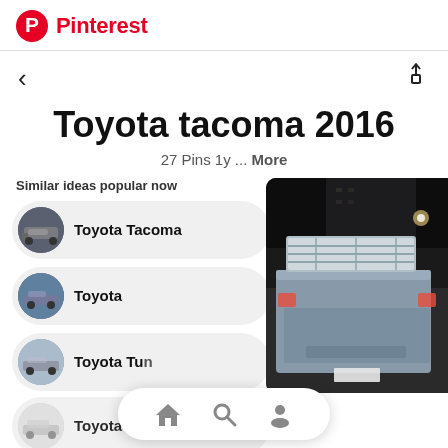Pinterest
< (back arrow) and share icon
Toyota tacoma 2016
27 Pins 1y ... More
Similar ideas popular now
Toyota Tacoma
Toyota
Toyota Tundra
Toyota 4runner
[Figure (photo): Rear view of a Toyota Tacoma truck at night in an urban parking area, dark moody atmosphere]
[Figure (infographic): Bottom navigation bar with home, search, and profile icons]